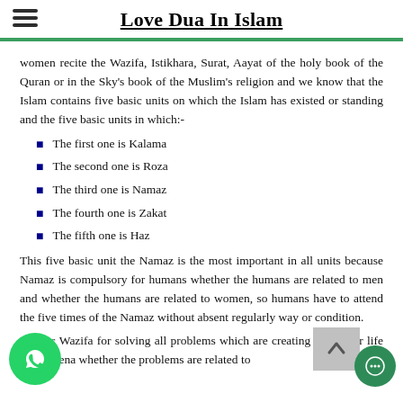Love Dua In Islam
women recite the Wazifa, Istikhara, Surat, Aayat of the holy book of the Quran or in the Sky's book of the Muslim's religion and we know that the Islam contains five basic units on which the Islam has existed or standing and the five basic units in which:-
The first one is Kalama
The second one is Roza
The third one is Namaz
The fourth one is Zakat
The fifth one is Haz
This five basic unit the Namaz is the most important in all units because Namaz is compulsory for humans whether the humans are related to men and whether the humans are related to women, so humans have to attend the five times of the Namaz without absent regularly way or condition.
Islamic Wazifa for solving all problems which are creating the life or life phenomena whether the problems are related to